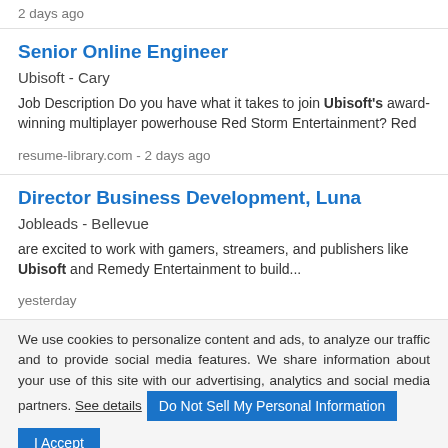2 days ago
Senior Online Engineer
Ubisoft  -  Cary
Job Description Do you have what it takes to join Ubisoft's award-winning multiplayer powerhouse Red Storm Entertainment? Red
resume-library.com  -  2 days ago
Director Business Development, Luna
Jobleads  -  Bellevue
are excited to work with gamers, streamers, and publishers like Ubisoft and Remedy Entertainment to build...
yesterday
We use cookies to personalize content and ads, to analyze our traffic and to provide social media features. We share information about your use of this site with our advertising, analytics and social media partners. See details  Do Not Sell My Personal Information  I Accept